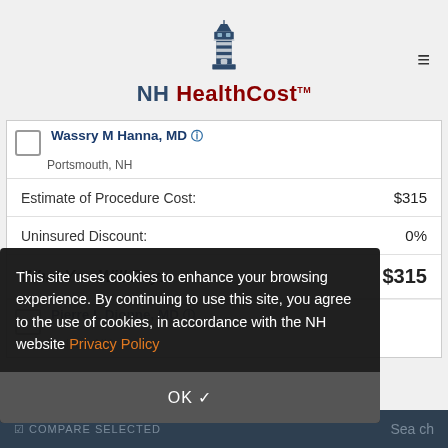[Figure (logo): NH HealthCost lighthouse logo with text]
Wassry M Hanna, MD
Portsmouth, NH
| Estimate of Procedure Cost: | $315 |
| Uninsured Discount: | 0% |
| What You Will Pay: | $315 |
Pierre L Dionne, MD
Hudson, NH
This site uses cookies to enhance your browsing experience. By continuing to use this site, you agree to the use of cookies, in accordance with the NH website Privacy Policy
OK ✓
⊠ COMPARE SELECTED   Search